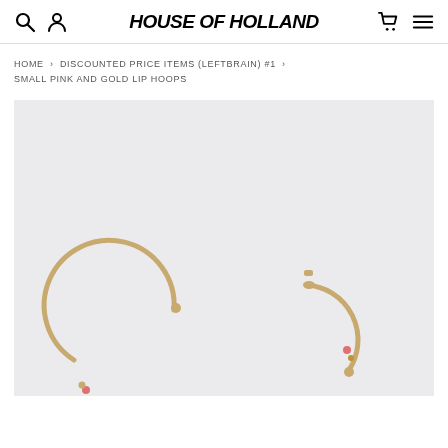HOUSE OF HOLLAND
HOME > DISCOUNTED PRICE ITEMS (LEFTBRAIN) #1 > SMALL PINK AND GOLD LIP HOOPS
[Figure (photo): Product photo of small gold hoop earrings with pink and gold lip detail on a light grey background. Two gold hoop earrings are partially visible at the bottom of the image.]